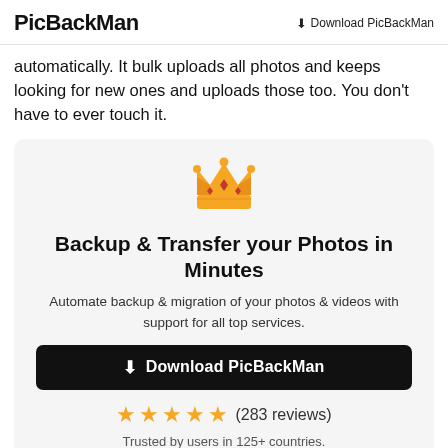PicBackMan   Download PicBackMan
automatically. It bulk uploads all photos and keeps looking for new ones and uploads those too. You don't have to ever touch it.
[Figure (illustration): Orange and red crown emoji]
Backup & Transfer your Photos in Minutes
Automate backup & migration of your photos & videos with support for all top services.
Download PicBackMan (button)
★★★★★ (283 reviews)
Trusted by users in 125+ countries.